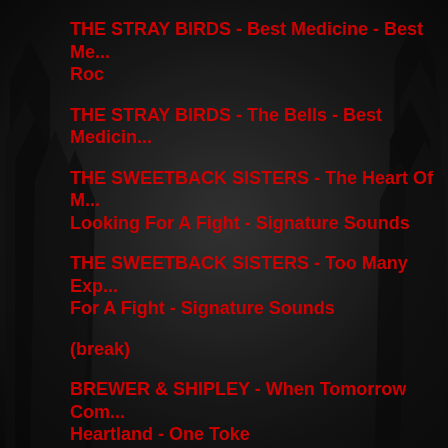THE STRAY BIRDS - Best Medicine - Best Medicine - Roc
THE STRAY BIRDS - The Bells - Best Medicine
THE SWEETBACK SISTERS - The Heart Of M... Looking For A Fight - Signature Sounds
THE SWEETBACK SISTERS - Too Many Exp... For A Fight - Signature Sounds
(break)
BREWER & SHIPLEY - When Tomorrow Com... Heartland - One Toke